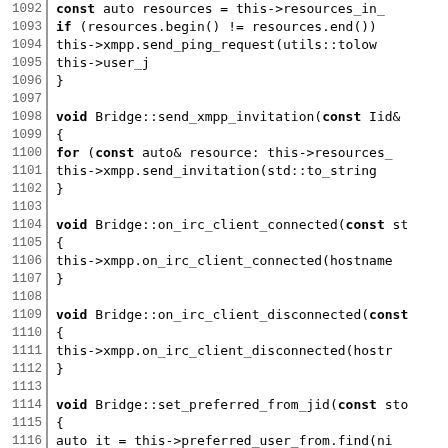[Figure (screenshot): Source code listing in C++ showing lines 1092-1122 with line numbers on the left separated by a vertical bar, monospace font, showing Bridge class methods including send_xmpp_invitation, on_irc_client_connected, on_irc_client_disconnected, and set_preferred_from_jid]